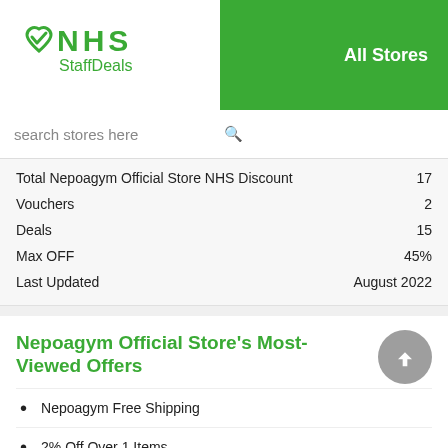[Figure (logo): NHS StaffDeals logo with green heart and checkmark icon]
All Stores
search stores here
| Total Nepoagym Official Store NHS Discount | 17 |
| Vouchers | 2 |
| Deals | 15 |
| Max OFF | 45% |
| Last Updated | August 2022 |
Nepoagym Official Store's Most-Viewed Offers
Nepoagym Free Shipping
2% Off Over 1 Items
10% Off Over 7 Items